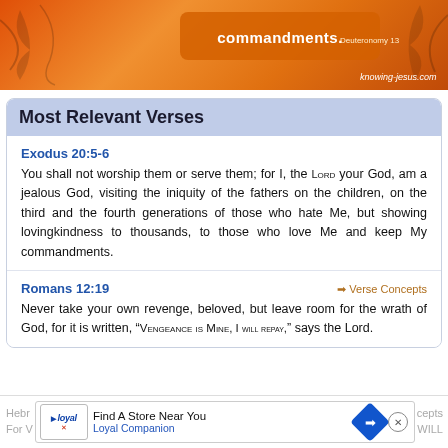[Figure (illustration): Orange decorative banner with floral/scroll design, bold text reading 'commandments.' with a reference 'Deuteronomy 13' and URL 'knowing-jesus.com' at the bottom right]
Most Relevant Verses
Exodus 20:5-6
You shall not worship them or serve them; for I, the LORD your God, am a jealous God, visiting the iniquity of the fathers on the children, on the third and the fourth generations of those who hate Me, but showing lovingkindness to thousands, to those who love Me and keep My commandments.
Romans 12:19
Never take your own revenge, beloved, but leave room for the wrath of God, for it is written, “VENGEANCE IS MINE, I WILL REPAY,” says the Lord.
Hebr... → Verse Concepts
For V... WILL
[Figure (screenshot): Advertisement banner: Find A Store Near You - Loyal Companion, with logo and navigation arrow icon and close button]